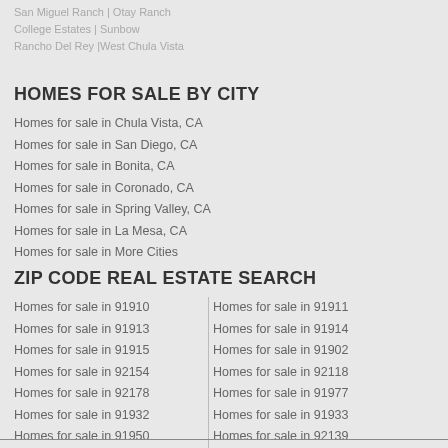San Miguel Ranch | Otay Ranch
College Estates | Sunbow
Rancho Del Rey |West Chula Vista
HOMES FOR SALE BY CITY
Homes for sale in Chula Vista, CA
Homes for sale in San Diego, CA
Homes for sale in Bonita, CA
Homes for sale in Coronado, CA
Homes for sale in Spring Valley, CA
Homes for sale in La Mesa, CA
Homes for sale in More Cities
ZIP CODE REAL ESTATE SEARCH
Homes for sale in 91910 | Homes for sale in 91911
Homes for sale in 91913 | Homes for sale in 91914
Homes for sale in 91915 | Homes for sale in 91902
Homes for sale in 92154 | Homes for sale in 92118
Homes for sale in 92178 | Homes for sale in 91977
Homes for sale in 91932 | Homes for sale in 91933
Homes for sale in 91950 | Homes for sale in 92139